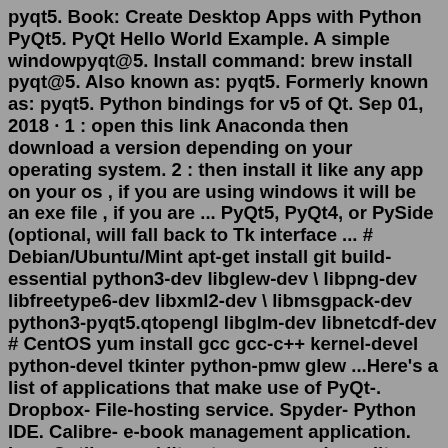pyqt5. Book: Create Desktop Apps with Python PyQt5. PyQt Hello World Example. A simple windowpyqt@5. Install command: brew install pyqt@5. Also known as: pyqt5. Formerly known as: pyqt5. Python bindings for v5 of Qt. Sep 01, 2018 · 1 : open this link Anaconda then download a version depending on your operating system. 2 : then install it like any app on your os , if you are using windows it will be an exe file , if you are ... PyQt5, PyQt4, or PySide (optional, will fall back to Tk interface ... # Debian/Ubuntu/Mint apt-get install git build-essential python3-dev libglew-dev \ libpng-dev libfreetype6-dev libxml2-dev \ libmsgpack-dev python3-pyqt5.qtopengl libglm-dev libnetcdf-dev # CentOS yum install gcc gcc-c++ kernel-devel python-devel tkinter python-pmw glew ...Here's a list of applications that make use of PyQt-. Dropbox- File-hosting service. Spyder- Python IDE. Calibre- e-book management application. Leo- Outliner and literate programming editor. OpenShot- Video-editing program.By using pip install PyQt5, you can set up PyQt5 under the